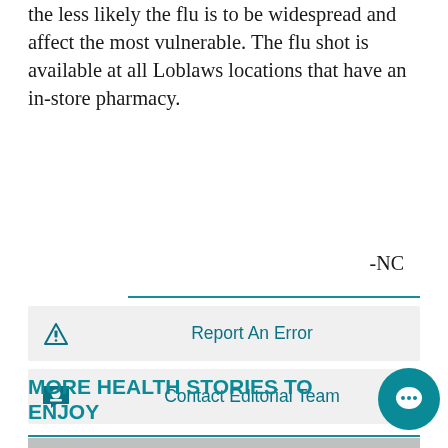the less likely the flu is to be widespread and affect the most vulnerable. The flu shot is available at all Loblaws locations that have an in-store pharmacy.
-NC
Report An Error
Contact Editorial Team
Corrections Policy
MORE HEALTH STORIES TO ENJOY